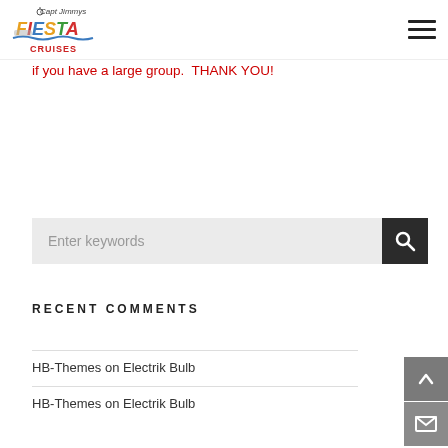[Figure (logo): Capt Jimmys Fiesta Cruises logo with colorful text and ship illustration]
if you have a large group.  THANK YOU!
Enter keywords
RECENT COMMENTS
HB-Themes on Electrik Bulb
HB-Themes on Electrik Bulb